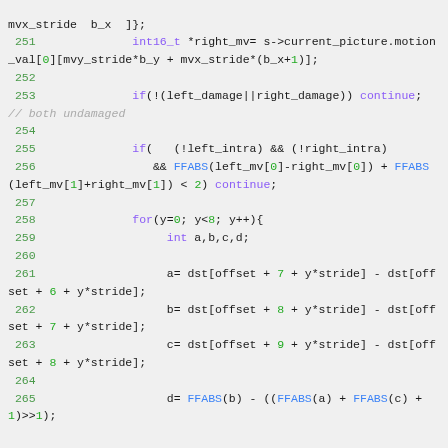[Figure (screenshot): Source code snippet in C showing lines 251-265, with syntax highlighting. Line numbers in green, keywords in purple, function names in blue, numeric literals in green, comments in gray italic.]